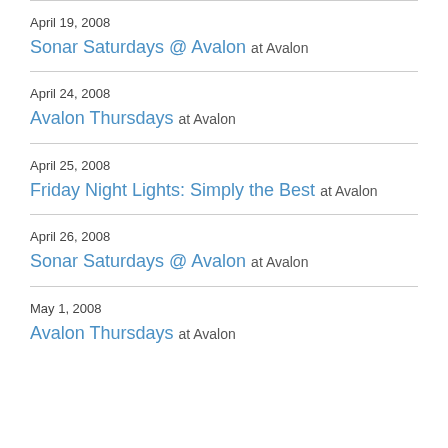April 19, 2008 — Sonar Saturdays @ Avalon at Avalon
April 24, 2008 — Avalon Thursdays at Avalon
April 25, 2008 — Friday Night Lights: Simply the Best at Avalon
April 26, 2008 — Sonar Saturdays @ Avalon at Avalon
May 1, 2008 — Avalon Thursdays at Avalon